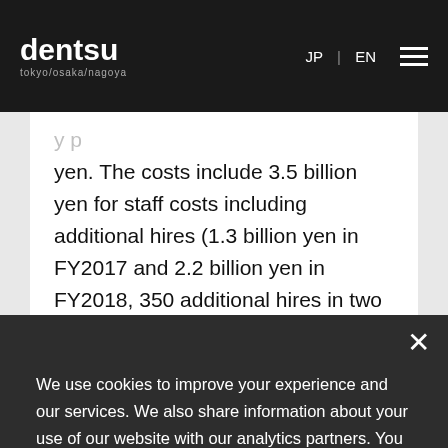dentsu tokyo/osaka/nagoya | JP | EN
yen. The costs include 3.5 billion yen for staff costs including additional hires (1.3 billion yen in FY2017 and 2.2 billion yen in FY2018, 350 additional hires in two years), 11.6 billion yen for business process engineering, including
We use cookies to improve your experience and our services. We also share information about your use of our website with our analytics partners. You can change your cookies settings, please see our Cookie Policy. Otherwise, if you agree to our use of cookies, please continue to use our website.
Accept